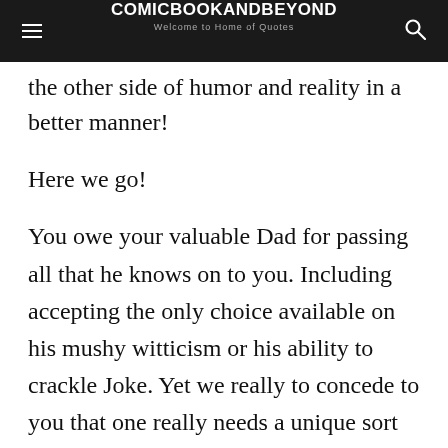COMICBOOKANDBEYOND
Welcome to Home of Quotes
the other side of humor and reality in a better manner!
Here we go!
You owe your valuable Dad for passing all that he knows on to you. Including accepting the only choice available on his mushy witticism or his ability to crackle Joke. Yet we really to concede to you that one really needs a unique sort of cleverness to value the fantastic group of parody known as father jokes.